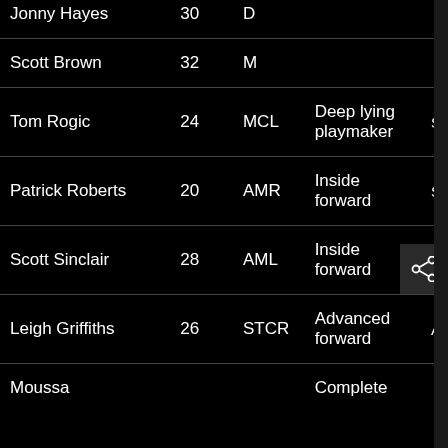| Name | Number | Position | Role | Extra |
| --- | --- | --- | --- | --- |
| Jonny Hayes | 30 | D |  |  |
| Scott Brown | 32 | M |  |  |
| Tom Rogic | 24 | MCL | Deep lying playmaker | S |
| Patrick Roberts | 20 | AMR | Inside forward | S |
| Scott Sinclair | 28 | AML | Inside forward | S |
| Leigh Griffiths | 26 | STCR | Advanced forward | A |
| Moussa |  |  | Complete |  |